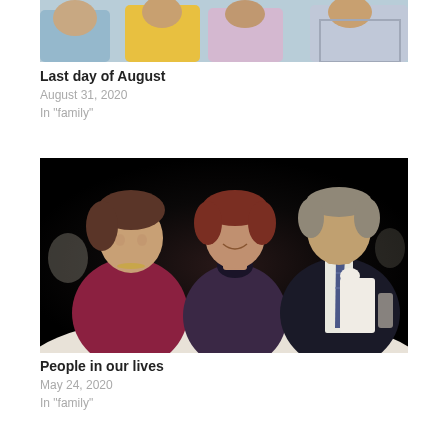[Figure (photo): Partial view of a group photo showing several people at a casual gathering, cropped at the top]
Last day of August
August 31, 2020
In "family"
[Figure (photo): Three people sitting at a table at a formal banquet or event in a dark venue. A woman in a maroon top on the left, a woman in a dark patterned top in the center, and a man in a dark suit with tie on the right.]
People in our lives
May 24, 2020
In "family"